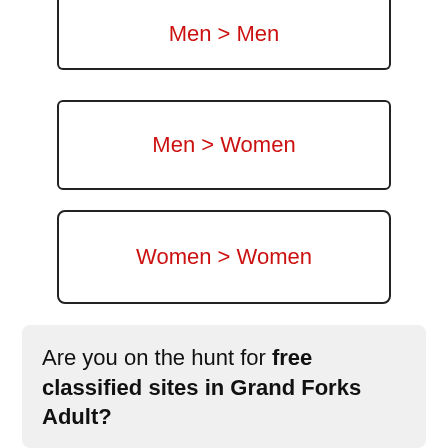Men > Men
Men > Women
Women > Women
Are you on the hunt for free classified sites in Grand Forks Adult?